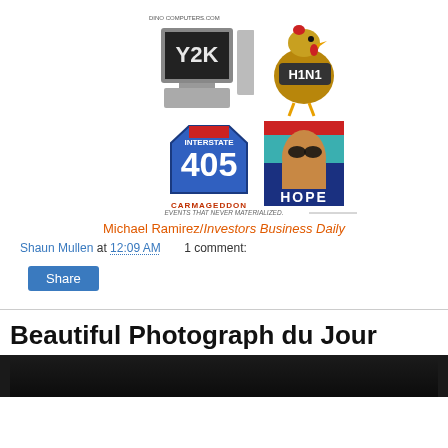[Figure (illustration): Cartoon collage showing four images: Y2K computer, H1N1 chicken, Interstate 405 Carmageddon sign, and Obama HOPE poster parody. Caption reads 'EVENTS THAT NEVER MATERIALIZED.']
Michael Ramirez/Investors Business Daily
Shaun Mullen at 12:09 AM     1 comment:
Share
Beautiful Photograph du Jour
[Figure (photo): Dark photograph partially visible at bottom of page]